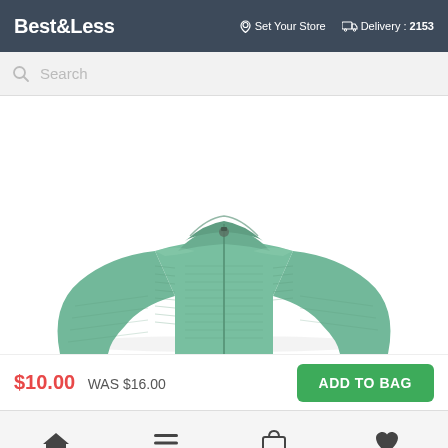Best&Less | Set Your Store | Delivery : 2153
[Figure (screenshot): Search bar with magnifying glass icon and placeholder text 'Search']
[Figure (photo): Green ribbed zip-up children's jacket/top, shown from shoulders up, on a white background]
$10.00 WAS $16.00
ADD TO BAG
Home | Menu | Bag | Wishlist